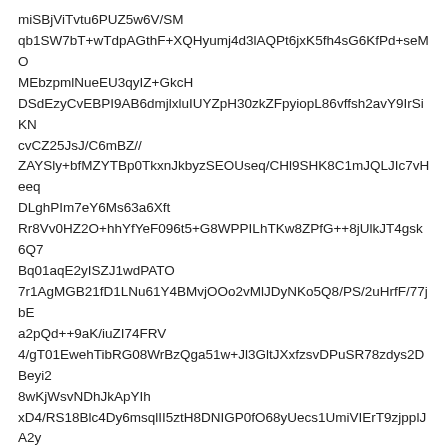miSBjViTvtu6PUZ5w6V/SM
qb1SW7bT+wTdpAGthF+XQHyumj4d3lAQPt6jxK5fh4sG6KfPd+seMO
MEbzpmlNueEU3qyIZ+GkcH
DSdEzyCvEBPI9AB6dmjlxluIUYZpH30zkZFpyiopL86vffsh2avY9IrSiKN
cvCZ25JsJ/C6mBZ//
ZAYSly+bfMZYTBp0TkxnJkbyzSEOUseq/CHl9SHK8C1mJQLJIc7vHeeq
DLghPIm7eY6Ms63a6Xft
Rr8Vv0HZ2O+hhYfYeF096t5+G8WPPILhTKw8ZPfG++8jUlkJT4gsk6Q7
Bq01aqE2yISZJ1wdPATO
7r1AgMGB21fD1LNu61Y4BMvjOOo2vMlJDyNKo5Q8/PS/2uHrfF/77jbE
a2pQd++9aK/iuZI74FRV
4/gT01EwehTibRG08WrBzQga51w+Jl3GltJXxfzsvDPuSR78zdys2DBeyi2
8wKjWsvNDhJkApYIh
xD4/RS18Blc4Dy6msqlII5ztH8DNIGP0fO68yUecs1UmiVIErT9zjpplJA2y
jXaq5gZq39naeUGj
HaShl9Of5991l6y169TDHZb8e76s4d3Efp46Kmxyn08gQ8nI6V//Cq1/5SR
K2mVUysYkGVYNKatX
IDFVTOk/LtDMJrIYEaVTBSzlHy7KCPQoMkpvXgF6T3oUdz83xxi/sZk0
wZWVlZf5ralHpnmDtI63